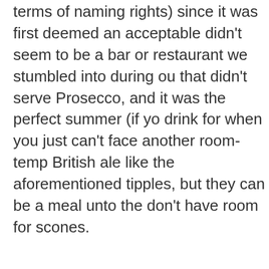terms of naming rights) since it was first deemed an acceptable didn't seem to be a bar or restaurant we stumbled into during ou that didn't serve Prosecco, and it was the perfect summer (if yo drink for when you just can't face another room-temp British ale like the aforementioned tipples, but they can be a meal unto the don't have room for scones.